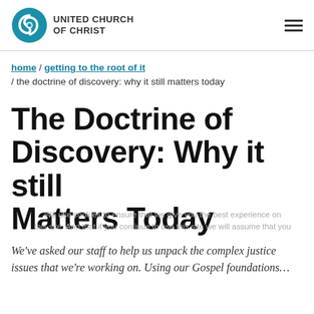[Figure (logo): United Church of Christ logo: circular blue swirl icon with text 'UNITED CHURCH OF CHRIST' in bold sans-serif]
home / getting to the root of it / the doctrine of discovery: why it still matters today
The Doctrine of Discovery: Why it still Matters Today
We've asked our staff to help us unpack the complex justice issues that we're working on. Using our Gospel foundations...